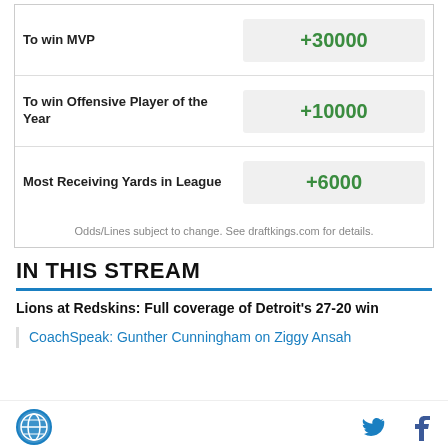| Bet | Odds |
| --- | --- |
| To win MVP | +30000 |
| To win Offensive Player of the Year | +10000 |
| Most Receiving Yards in League | +6000 |
Odds/Lines subject to change. See draftkings.com for details.
IN THIS STREAM
Lions at Redskins: Full coverage of Detroit's 27-20 win
CoachSpeak: Gunther Cunningham on Ziggy Ansah